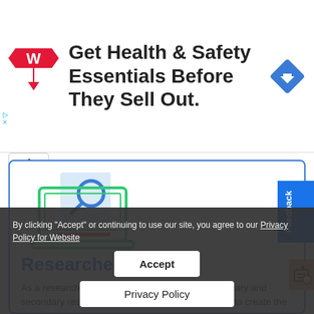[Figure (advertisement): Walgreens ad banner: red W logo on left, text 'Get Health & Safety Essentials Before They Sell Out.' in center, blue diamond arrow icon on right]
[Figure (illustration): Laptop icon with magnifying glass, green outline laptop with blue magnifying glass on light blue square background]
Researchers
As a researcher, you will have to conduct both primary and secondary research. It's obvious that you will have to create the analysis of primary research on your own. But for secondary research, you can take help of a paraphraser to get the analysis and check it through a paraphraser to create your analysis instantaneously.
By clicking "Accept" or continuing to use our site, you agree to our Privacy Policy for Website
Accept
Privacy Policy